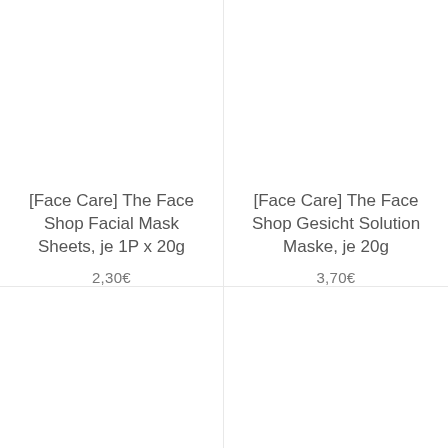[Face Care] The Face Shop Facial Mask Sheets, je 1P x 20g
2,30€
[Face Care] The Face Shop Gesicht Solution Maske, je 20g
3,70€
[Face Care] Pyunkang Yul Moisture Serum 100ml
[Face Care] Pyunkang Yul Moiture Cream 100ml